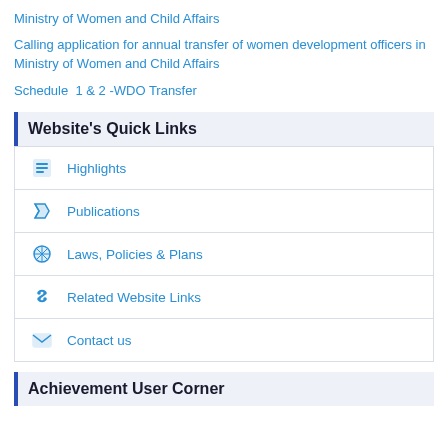Ministry of Women and Child Affairs
Calling application for annual transfer of women development officers in Ministry of Women and Child Affairs
Schedule  1 & 2 -WDO Transfer
Website's Quick Links
Highlights
Publications
Laws, Policies & Plans
Related Website Links
Contact us
Achievement User Corner